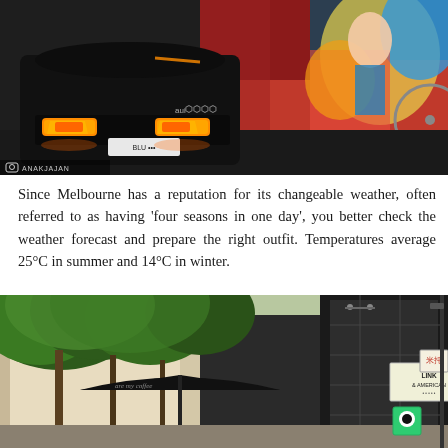[Figure (photo): Black Audi car from rear with glowing orange tail lights parked in an alley with colorful street art murals on the wall behind it. Watermark 'ANAKJAJAN' visible at bottom left.]
Since Melbourne has a reputation for its changeable weather, often referred to as having 'four seasons in one day', you better check the weather forecast and prepare the right outfit. Temperatures average 25°C in summer and 14°C in winter.
[Figure (photo): Street-level view of Melbourne laneway with lush green trees overhead, outdoor cafe umbrella with cursive text, and shop signs including 'LINK & AMERICAN' and Asian character signs on building facades.]